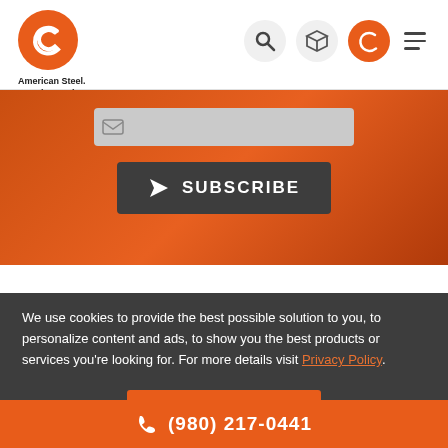[Figure (logo): American Steel company logo - orange circle with white C-shaped bracket icon, tagline: American Steel. American Jobs.]
[Figure (screenshot): Navigation icons: search magnifier, 3D box/product icon, orange circle with phone/C icon, hamburger menu lines]
[Figure (screenshot): Orange background section with partial email input field and dark SUBSCRIBE button with paper airplane icon]
We use cookies to provide the best possible solution to you, to personalize content and ads, to show you the best products or services you're looking for. For more details visit Privacy Policy.
[Figure (screenshot): Orange OK, THANKS button]
(980) 217-0441